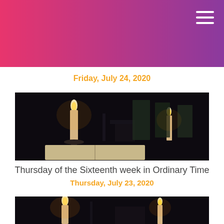Friday, July 24, 2020
[Figure (photo): Dark interior of a chapel with two lit candles on candlesticks and an open book/Bible on a table, church pews visible in the background]
Thursday of the Sixteenth week in Ordinary Time
Thursday, July 23, 2020
[Figure (photo): Dark interior of a chapel with lit candles, similar to the image above]